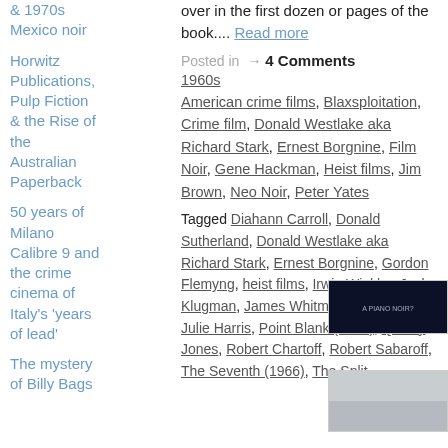over in the first dozen or pages of the book.... Read more
& 1970s Mexico noir
Horwitz Publications, Pulp Fiction & the Rise of the Australian Paperback
Posted in → 4 Comments
1960s, American crime films, Blaxsploitation, Crime film, Donald Westlake aka Richard Stark, Ernest Borgnine, Film Noir, Gene Hackman, Heist films, Jim Brown, Neo Noir, Peter Yates
50 years of Milano Calibre 9 and the crime cinema of Italy's 'years of lead'
Tagged Diahann Carroll, Donald Sutherland, Donald Westlake aka Richard Stark, Ernest Borgnine, Gordon Flemyng, heist films, Irwin Winkler, Jack Klugman, James Whitmore, Jim Brown, Julie Harris, Point Blank (1967), Quincy Jones, Robert Chartoff, Robert Sabaroff, The Seventh (1966), The Split
The mystery of Billy Bags
[Figure (screenshot): Dark blue/black movie screenshot thumbnail]
[Figure (photo): Light grey/white photo thumbnail]